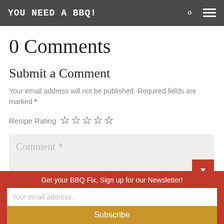YOU NEED A BBQ!
0 Comments
Submit a Comment
Your email address will not be published. Required fields are marked *
Recipe Rating ☆☆☆☆☆
Comment *
Get your BBQ Fix, Sign up for our Newsletter!
Your email address..
Subscribe